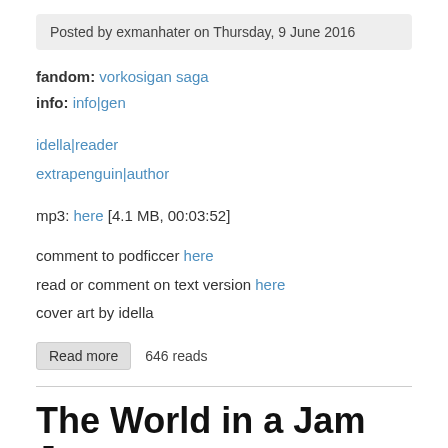Posted by exmanhater on Thursday, 9 June 2016
fandom: vorkosigan saga
info: info|gen
idella|reader
extrapenguin|author
mp3: here [4.1 MB, 00:03:52]
comment to podficcer here
read or comment on text version here
cover art by idella
Read more  646 reads
The World in a Jam Jar
Posted by exmanhater on Thursday, 9 June 2016